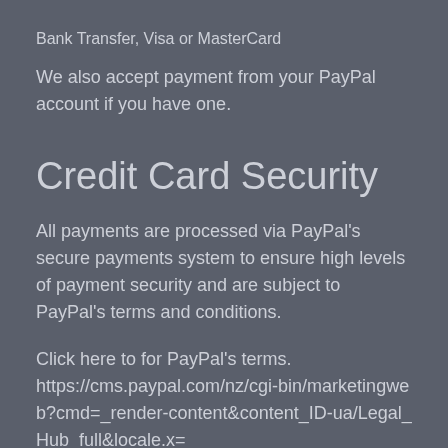Bank Transfer, Visa or MasterCard
We also accept payment from your PayPal account if you have one.
Credit Card Security
All payments are processed via PayPal's secure payments system to ensure high levels of payment security and are subject to PayPal's terms and conditions.
Click here to for PayPal's terms. https://cms.paypal.com/nz/cgi-bin/marketingweb?cmd=_render-content&content_ID-ua/Legal_Hub_full&locale.x=